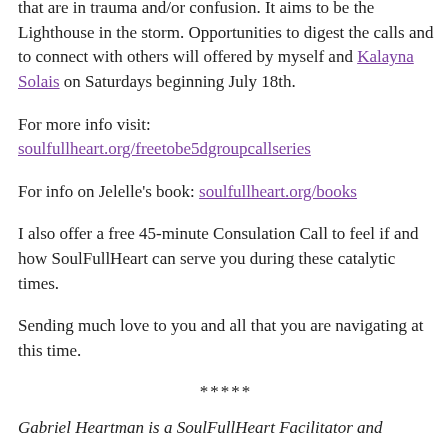that are in trauma and/or confusion. It aims to be the Lighthouse in the storm. Opportunities to digest the calls and to connect with others will offered by myself and Kalayna Solais on Saturdays beginning July 18th.
For more info visit: soulfullheart.org/freetobe5dgroupcallseries
For info on Jelelle's book: soulfullheart.org/books
I also offer a free 45-minute Consulation Call to feel if and how SoulFullHeart can serve you during these catalytic times.
Sending much love to you and all that you are navigating at this time.
*****
Gabriel Heartman is a SoulFullHeart Facilitator and